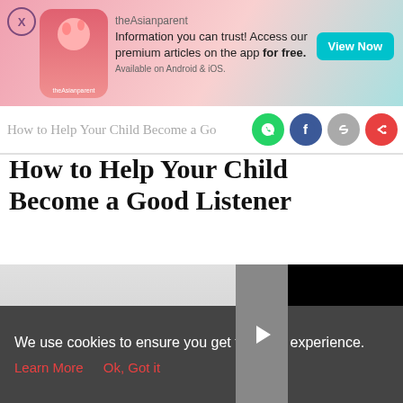[Figure (screenshot): theAsianparent app advertisement banner with baby illustration, pink gradient background, and 'View Now' teal button. Text: 'Information you can trust! Access our premium articles on the app for free. Available on Android & iOS.']
How to Help Your Child Become a Go…
How to Help Your Child Become a Good Listener
[Figure (screenshot): Black video player area with grey arrow navigation panel on left side]
[Figure (photo): Light grey photo area on left side below article title]
[Figure (infographic): Bottom navigation bar with Tools, Articles, center baby feet icon on pink circle, Feed, and Poll icons]
We use cookies to ensure you get the best experience.
Learn More   Ok, Got it